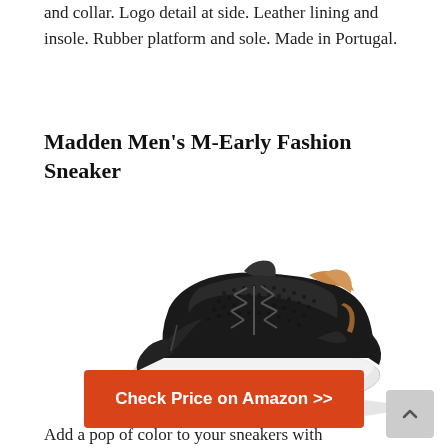and collar. Logo detail at side. Leather lining and insole. Rubber platform and sole. Made in Portugal.
Madden Men's M-Early Fashion Sneaker
[Figure (photo): Black lace-up fashion sneaker with white rubber sole and tan collar detail, photographed on white background]
Check Price on Amazon >>
Add a pop of color to your sneakers with